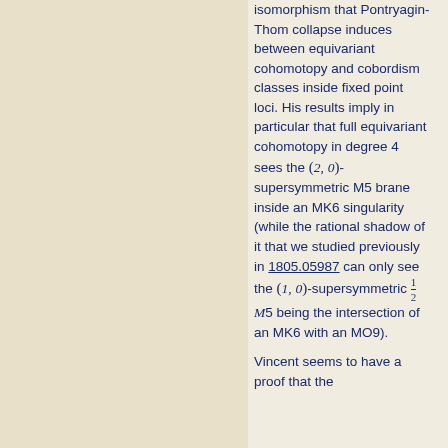isomorphism that Pontryagin-Thom collapse induces between equivariant cohomotopy and cobordism classes inside fixed point loci. His results imply in particular that full equivariant cohomotopy in degree 4 sees the (2,0)-supersymmetric M5 brane inside an MK6 singularity (while the rational shadow of it that we studied previously in 1805.05987 can only see the (1,0)-supersymmetric ½M5 being the intersection of an MK6 with an MO9).
Vincent seems to have a proof that the